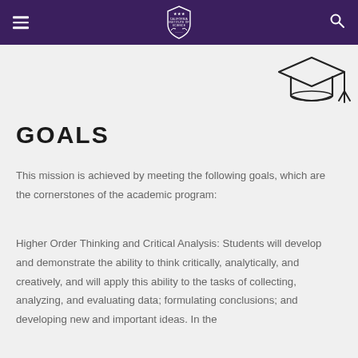[Navigation bar with hamburger menu, California Institute of Science logo, and search icon]
[Figure (illustration): Graduation cap icon in outline style, positioned top right]
GOALS
This mission is achieved by meeting the following goals, which are the cornerstones of the academic program:
Higher Order Thinking and Critical Analysis: Students will develop and demonstrate the ability to think critically, analytically, and creatively, and will apply this ability to the tasks of collecting, analyzing, and evaluating data; formulating conclusions; and developing new and important ideas. In the